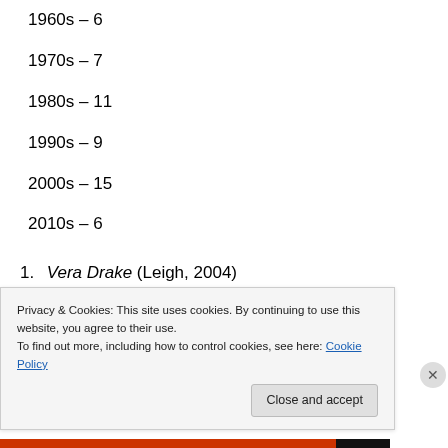1960s – 6
1970s – 7
1980s – 11
1990s – 9
2000s – 15
2010s – 6
1. Vera Drake (Leigh, 2004)
2. In the Loop (Iannucci, 2009)
3. Bukowski: Born Into This (Dullaghan, 2003)
4. Innocent Voices (Mandoki, 2004)
Privacy & Cookies: This site uses cookies. By continuing to use this website, you agree to their use. To find out more, including how to control cookies, see here: Cookie Policy
Close and accept